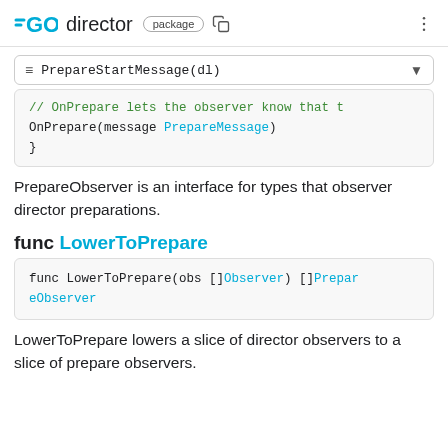GO director package
PrepareStartMessage(dl)
[Figure (screenshot): Code block showing: // OnPrepare lets the observer know that t
    OnPrepare(message PrepareMessage)
}]
PrepareObserver is an interface for types that observer director preparations.
func LowerToPrepare
[Figure (screenshot): Code block showing: func LowerToPrepare(obs []Observer) []PrepareObserver]
LowerToPrepare lowers a slice of director observers to a slice of prepare observers.